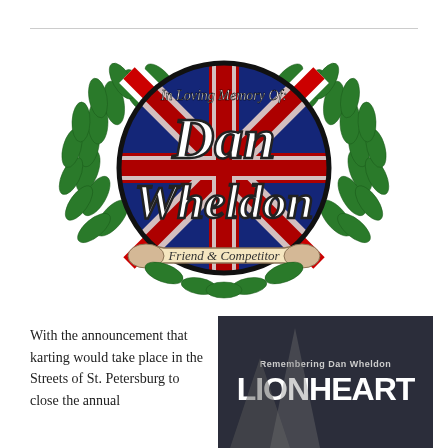[Figure (logo): Memorial emblem for Dan Wheldon. Circular badge with Union Jack background, surrounded by green laurel wreath, with scroll banner at bottom. Text reads 'In Loving Memory Of: Dan Wheldon Friend & Competitor'.]
With the announcement that karting would take place in the Streets of St. Petersburg to close the annual
[Figure (photo): Dark background image with text 'Remembering Dan Wheldon' and large bold text 'LIONHEART' with architectural/column shapes in background.]